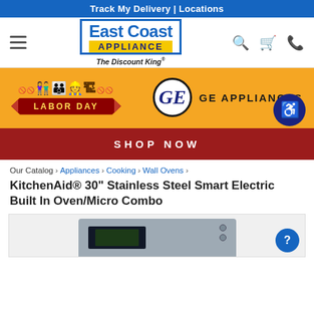Track My Delivery | Locations
[Figure (logo): East Coast Appliance - The Discount King logo with navigation icons (hamburger menu, search, cart, phone)]
[Figure (infographic): Labor Day sale banner with GE Appliances logo on orange background, with Shop Now button]
Our Catalog › Appliances › Cooking › Wall Ovens ›
KitchenAid® 30" Stainless Steel Smart Electric Built In Oven/Micro Combo
[Figure (photo): KitchenAid stainless steel built-in wall oven/microwave combo unit]